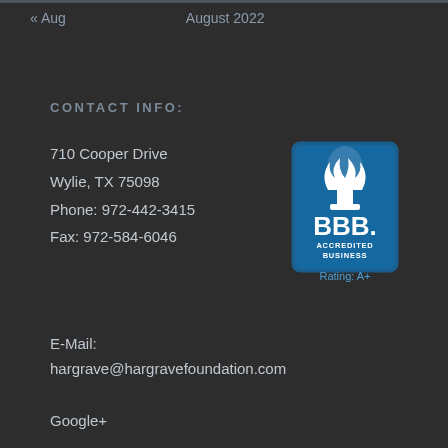« Aug    August 2022
CONTACT INFO:
710 Cooper Drive
Wylie, TX 75098
Phone: 972-442-3415
Fax: 972-584-6046
[Figure (logo): BBB Accredited Business badge with Rating: A+]
E-Mail:
hargrave@hargravefoundation.com
Google+